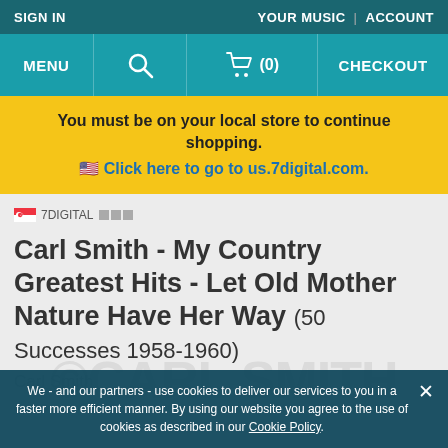SIGN IN | YOUR MUSIC | ACCOUNT
MENU | [search] | [cart] (0) | CHECKOUT
You must be on your local store to continue shopping. 🇺🇸 Click here to go to us.7digital.com.
🇸🇬 7DIGITAL □□□
Carl Smith - My Country Greatest Hits - Let Old Mother Nature Have Her Way (50 Successes 1958-1960)
Carl Smith
We - and our partners - use cookies to deliver our services to you in a faster more efficient manner. By using our website you agree to the use of cookies as described in our Cookie Policy.